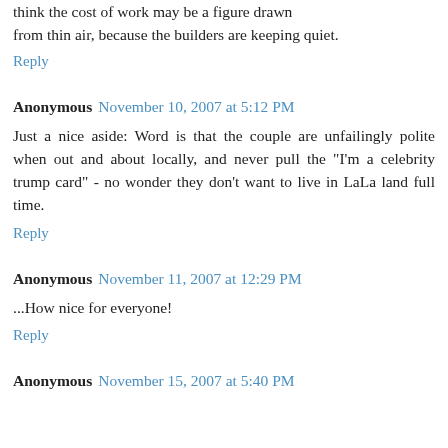The price could be right, as a lot of work was needed. I think the cost of work may be a figure drawn from thin air, because the builders are keeping quiet.
Reply
Anonymous November 10, 2007 at 5:12 PM
Just a nice aside: Word is that the couple are unfailingly polite when out and about locally, and never pull the "I'm a celebrity trump card" - no wonder they don't want to live in LaLa land full time.
Reply
Anonymous November 11, 2007 at 12:29 PM
...How nice for everyone!
Reply
Anonymous November 15, 2007 at 5:40 PM